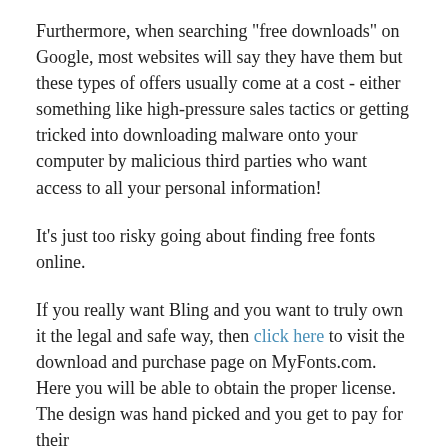Furthermore, when searching "free downloads" on Google, most websites will say they have them but these types of offers usually come at a cost - either something like high-pressure sales tactics or getting tricked into downloading malware onto your computer by malicious third parties who want access to all your personal information!
It's just too risky going about finding free fonts online.
If you really want Bling and you want to truly own it the legal and safe way, then click here to visit the download and purchase page on MyFonts.com. Here you will be able to obtain the proper license. The design was hand picked and you get to pay for their